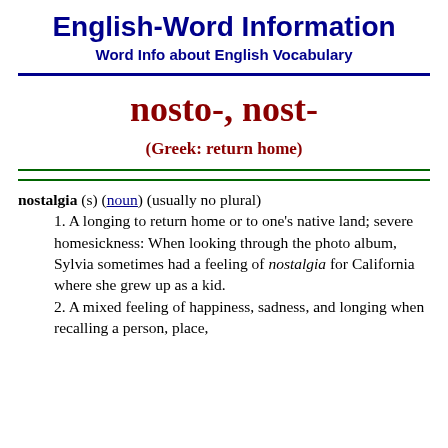English-Word Information
Word Info about English Vocabulary
nosto-, nost-
(Greek: return home)
nostalgia (s) (noun) (usually no plural)
1. A longing to return home or to one's native land; severe homesickness: When looking through the photo album, Sylvia sometimes had a feeling of nostalgia for California where she grew up as a kid.
2. A mixed feeling of happiness, sadness, and longing when recalling a person, place,